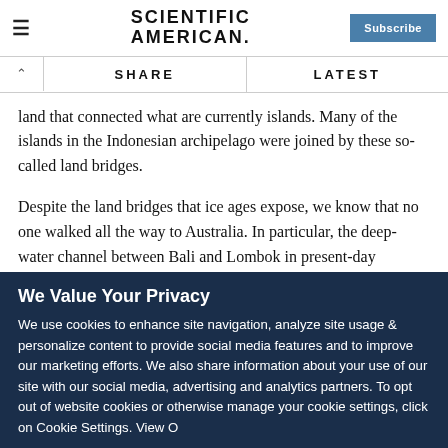Scientific American — Subscribe
SHARE  LATEST
land that connected what are currently islands. Many of the islands in the Indonesian archipelago were joined by these so-called land bridges.
Despite the land bridges that ice ages expose, we know that no one walked all the way to Australia. In particular, the deep-water channel between Bali and Lombok in present-day Indonesia, a channel around thirty-five kilometers long, would
We Value Your Privacy
We use cookies to enhance site navigation, analyze site usage & personalize content to provide social media features and to improve our marketing efforts. We also share information about your use of our site with our social media, advertising and analytics partners. To opt out of website cookies or otherwise manage your cookie settings, click on Cookie Settings. View Our